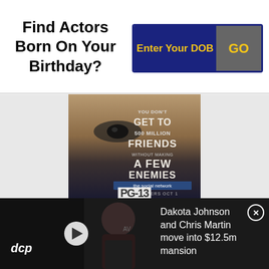Find Actors Born On Your Birthday?
Enter Your DOB
GO
[Figure (photo): Movie poster for 'The Social Network' showing a close-up of a person's face with text: YOU DON'T GET TO 500 MILLION FRIENDS WITHOUT MAKING A FEW ENEMIES. In theaters OCT 1. PG-13.]
[Figure (screenshot): Video thumbnail showing a woman in a black outfit with dcp logo overlay and play button]
Dakota Johnson and Chris Martin move into $12.5m mansion